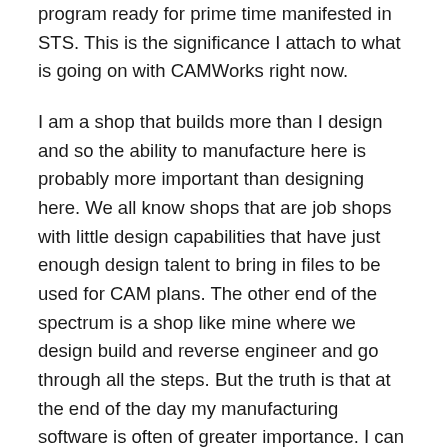program ready for prime time manifested in STS. This is the significance I attach to what is going on with CAMWorks right now.
I am a shop that builds more than I design and so the ability to manufacture here is probably more important than designing here. We all know shops that are job shops with little design capabilities that have just enough design talent to bring in files to be used for CAM plans. The other end of the spectrum is a shop like mine where we design build and reverse engineer and go through all the steps. But the truth is that at the end of the day my manufacturing software is often of greater importance. I can take a mediocre design program and fiddle around with it until I get to a workable part. But when it comes to machine time on expensive equipment and consumables that can run you over $50.00 per hour in addition to the